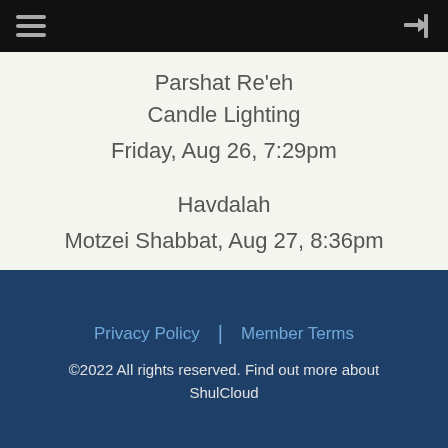Menu | Login
Parshat Re'eh
Candle Lighting
Friday, Aug 26, 7:29pm
Havdalah
Motzei Shabbat, Aug 27, 8:36pm
Privacy Policy | Member Terms
©2022 All rights reserved. Find out more about ShulCloud